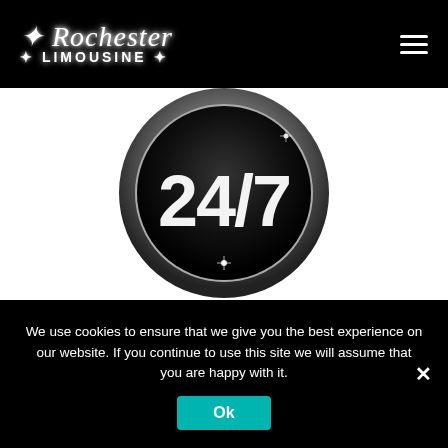[Figure (logo): Rochester Limousine logo with sparkle/glitter styling on black navigation bar]
[Figure (other): Partial view of a circular 24/7 badge/emblem with chrome/metallic styling on white background]
[Figure (other): Hot pink/magenta horizontal stripe section with downward-pointing white triangle notch at top center]
We use cookies to ensure that we give you the best experience on our website. If you continue to use this site we will assume that you are happy with it.
Ok